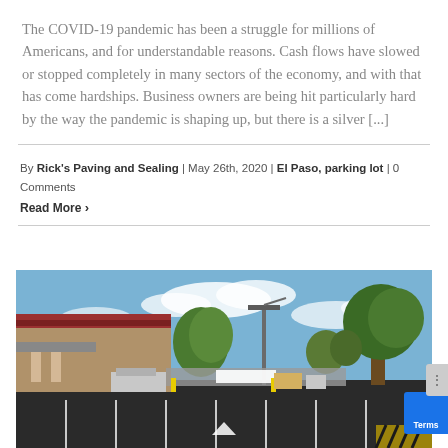The COVID-19 pandemic has been a struggle for millions of Americans, and for understandable reasons. Cash flows have slowed or stopped completely in many sectors of the economy, and with that has come hardships. Business owners are being hit particularly hard by the way the pandemic is shaping up, but there is a silver [...]
By Rick's Paving and Sealing | May 26th, 2020 | El Paso, parking lot | 0 Comments
Read More ›
[Figure (photo): Outdoor parking lot scene showing a commercial building with a red tile roof on the left, a large paved parking lot with white line markings in the foreground, trees in the background, and a light pole in the center. The sky is partly cloudy and blue.]